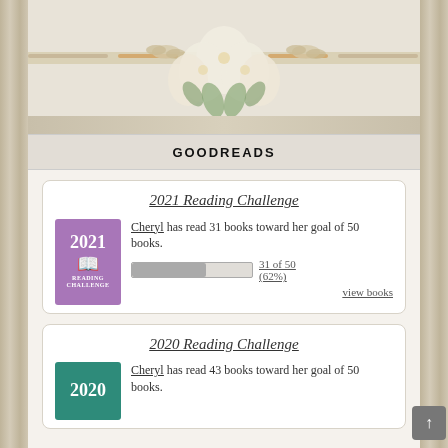[Figure (illustration): Decorative floral header with white/cream magnolia flowers and butterflies on a horizontal banner with decorative striped elements]
GOODREADS
2021 Reading Challenge
Cheryl has read 31 books toward her goal of 50 books. 31 of 50 (62%)
view books
2020 Reading Challenge
Cheryl has read 43 books toward her goal of 50 books.